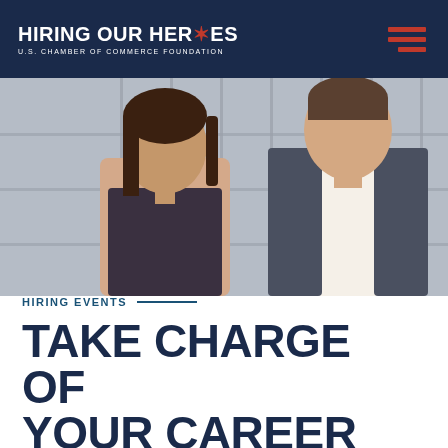HIRING OUR HEROES — U.S. CHAMBER OF COMMERCE FOUNDATION
[Figure (photo): Two professionals — a woman and a man in a suit — looking downward in an industrial or warehouse setting with metal cage shelving in the background.]
HIRING EVENTS
TAKE CHARGE OF YOUR CAREER
Our hiring events connect military community job seekers from around the globe with American businesses hiring for local, national, and remote